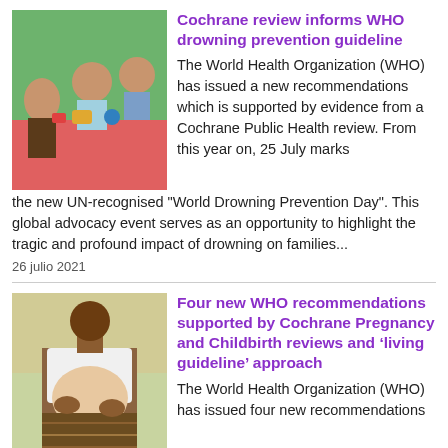[Figure (photo): Two young children playing at a table, one laughing, colorful toys visible, indoor setting with green wall.]
Cochrane review informs WHO drowning prevention guideline
The World Health Organization (WHO) has issued a new recommendations which is supported by evidence from a Cochrane Public Health review.  From this year on, 25 July marks the new UN-recognised "World Drowning Prevention Day". This global advocacy event serves as an opportunity to highlight the tragic and profound impact of drowning on families...
26 julio 2021
[Figure (photo): A pregnant woman holding her belly, wearing a white top and patterned skirt, outdoors.]
Four new WHO recommendations supported by Cochrane Pregnancy and Childbirth reviews and ‘living guideline’ approach
The World Health Organization (WHO) has issued four new recommendations